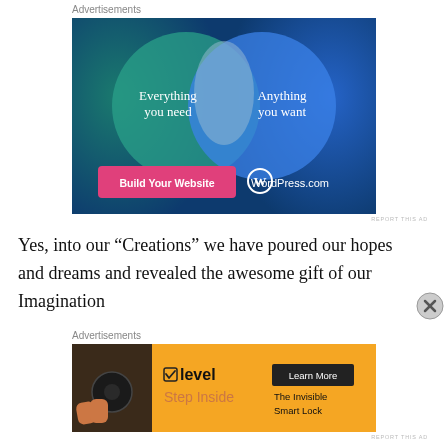Advertisements
[Figure (infographic): WordPress.com advertisement with Venn diagram showing two overlapping circles on dark blue background. Left teal circle labeled 'Everything you need', right blue circle labeled 'Anything you want'. Pink button 'Build Your Website' and WordPress.com logo at bottom.]
Yes, into our “Creations” we have poured our hopes and dreams and revealed the awesome gift of our Imagination
Advertisements
[Figure (infographic): Level smart lock advertisement with yellow/orange background. Shows a smart lock image on left, 'level' brand name with checkbox icon, 'Step Inside' tagline, 'Learn More' button, and 'The Invisible Smart Lock' text on right.]